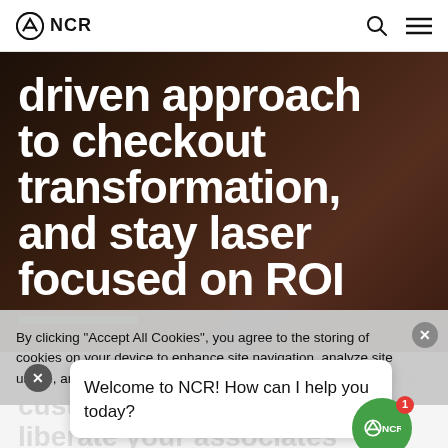NCR logo and navigation bar with search and menu icons
driven approach to checkout transformation, and stay laser focused on ROI
By clicking “Accept All Cookies”, you agree to the storing of cookies on your device to enhance site navigation, analyze site usage, and assist in our marketing efforts.
Welcome to NCR! How can I help you today?